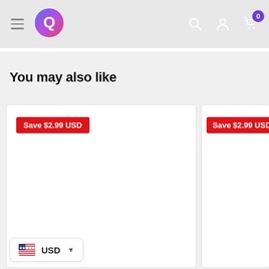Navigation header with hamburger menu, Q logo, search icon, account icon, and cart with badge 0
You may also like
Save $2.99 USD
Save $2.99 USD
USD